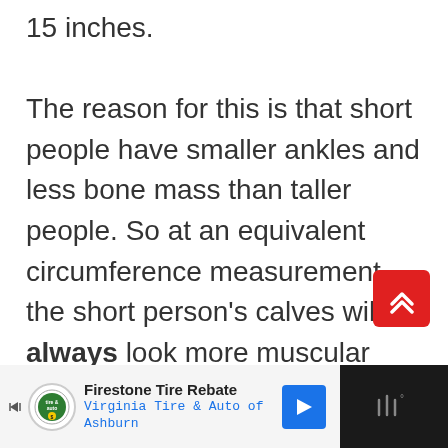15 inches. The reason for this is that short people have smaller ankles and less bone mass than taller people. So at an equivalent circumference measurement, the short person's calves will always look more muscular because they're more filled out.
[Figure (other): Red scroll-to-top button with double chevron up arrow]
[Figure (other): Advertisement bar: Firestone Tire Rebate - Virginia Tire & Auto of Ashburn]